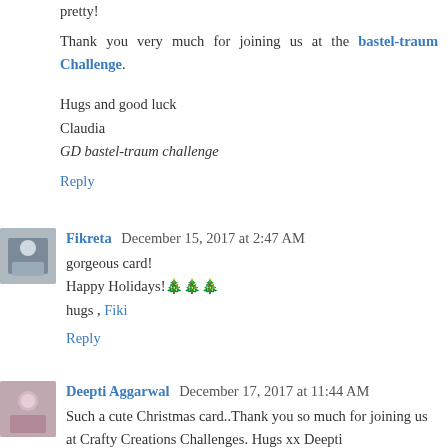pretty!
Thank you very much for joining us at the bastel-traum Challenge.
Hugs and good luck
Claudia
GD bastel-traum challenge
Reply
Fikreta  December 15, 2017 at 2:47 AM
gorgeous card!
Happy Holidays!🎄🎄🎄
hugs , Fiki
Reply
Deepti Aggarwal  December 17, 2017 at 11:44 AM
Such a cute Christmas card..Thank you so much for joining us at Crafty Creations Challenges. Hugs xx Deepti